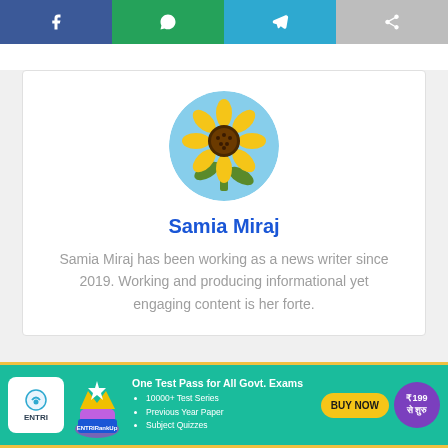[Figure (infographic): Social share buttons row: Facebook (blue), WhatsApp (green), Telegram (blue), Share (grey)]
[Figure (photo): Circular profile photo showing a sunflower against a blue sky background]
Samia Miraj
Samia Miraj has been working as a news writer since 2019. Working and producing informational yet engaging content is her forte.
[Figure (infographic): ENTRI advertisement banner: One Test Pass for All Govt. Exams - 10000+ Test Series, Previous Year Paper, Subject Quizzes. BUY NOW button. ₹199 से शुरु.]